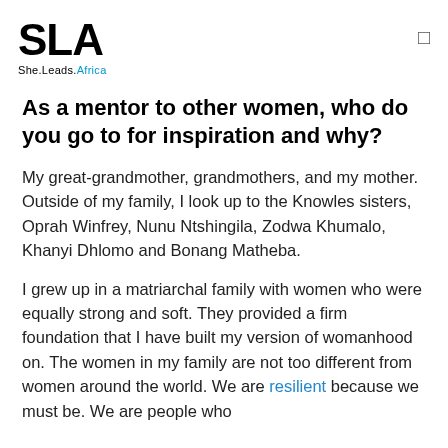SLA She.Leads.Africa
As a mentor to other women, who do you go to for inspiration and why?
My great-grandmother, grandmothers, and my mother. Outside of my family, I look up to the Knowles sisters, Oprah Winfrey, Nunu Ntshingila, Zodwa Khumalo, Khanyi Dhlomo and Bonang Matheba.
I grew up in a matriarchal family with women who were equally strong and soft. They provided a firm foundation that I have built my version of womanhood on. The women in my family are not too different from women around the world. We are resilient because we must be. We are people who